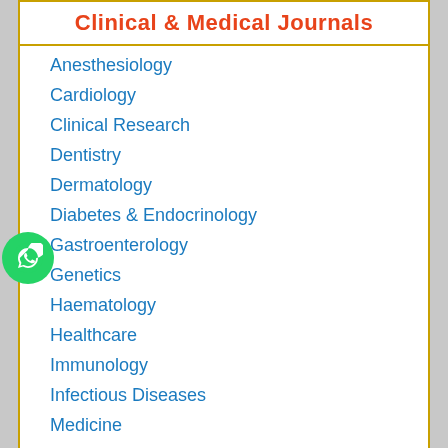Clinical & Medical Journals
Anesthesiology
Cardiology
Clinical Research
Dentistry
Dermatology
Diabetes & Endocrinology
Gastroenterology
Genetics
Haematology
Healthcare
Immunology
Infectious Diseases
Medicine
Microbiology
Molecular Biology
Nephrology
Neurology
Nursing
Nutrition